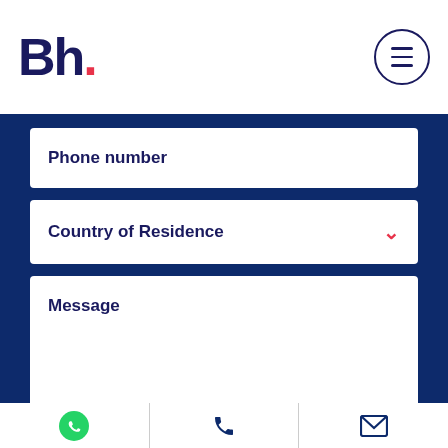[Figure (logo): Bh. logo with dark navy text and red dot]
Phone number
Country of Residence
Message
[Figure (screenshot): reCAPTCHA widget with checkbox and 'I'm not a robot' text]
[Figure (infographic): Bottom navigation bar with WhatsApp, phone, and email icons]